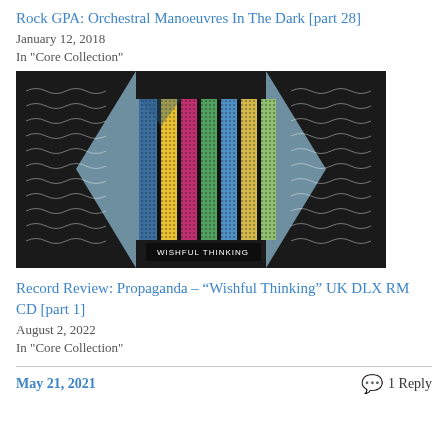Rock GPA: Orchestral Manoeuvres In The Dark [part 28]
January 12, 2018
In "Core Collection"
[Figure (photo): Album cover art for Propaganda – Wishful Thinking, showing colorful patterned vertical strips on a grey background with chevron/arrow pattern borders and text 'WISHFUL THINKING' at the bottom]
Record Review: Propaganda – “Wishful Thinking” UK DLX RM CD [part 1]
August 2, 2022
In "Core Collection"
May 21, 2021
1 Reply